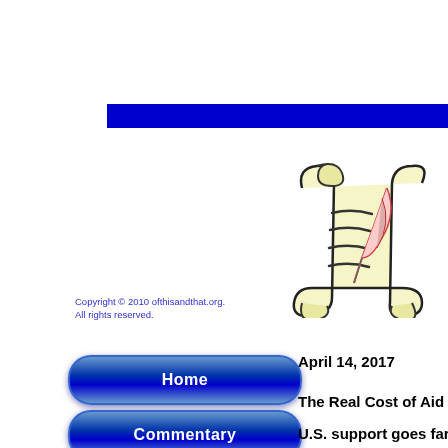[Figure (other): Blue horizontal navigation bar]
[Figure (illustration): Scroll with quill pen illustration/logo]
Copyright © 2010 ofthisandthat.org.
All rights reserved.
[Figure (other): Blue rounded button labeled Home]
[Figure (other): Blue rounded button labeled Commentary]
April 14, 2017
The Real Cost of Aid t
U.S. support goes far